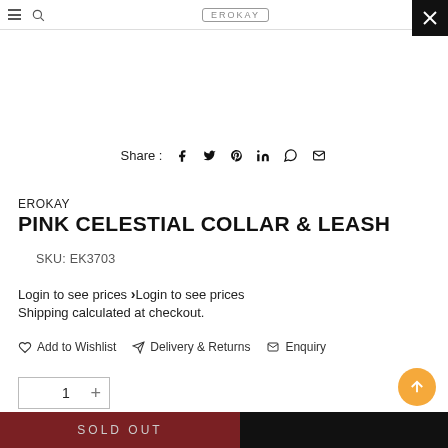EROKAY (navigation/header bar with hamburger, search, logo, cart, close button)
Share : (social icons: Facebook, Twitter, Pinterest, LinkedIn, WhatsApp, Email)
EROKAY
PINK CELESTIAL COLLAR & LEASH
SKU: EK3703
Login to see prices > Login to see prices
Shipping calculated at checkout.
♡ Add to Wishlist   ✈ Delivery & Returns   ✉ Enquiry
1 +
SOLD OUT